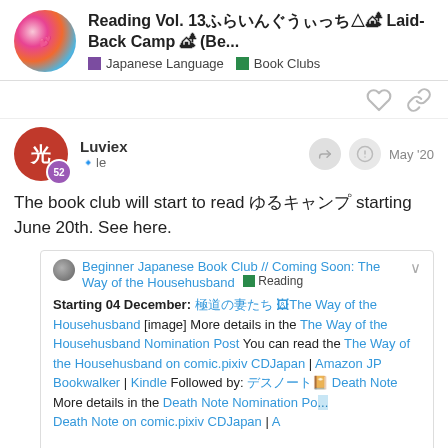Reading Vol. 13ふらいんぐうぃっち△🏕 Laid-Back Camp 🏕 (Be... Japanese Language Book Clubs
Luviex
🔹le
May '20
The book club will start to read ゆるキャンプ starting June 20th. See here.
Beginner Japanese Book Club // Coming Soon: The Way of the Househusband 📕 Reading
Starting 04 December: 極道の妻たち 🖼The Way of the Househusband [image] More details in the The Way of the Househusband Nomination Post You can read the The Way of the Househusband on comic.pixiv CDJapan | Amazon JP Bookwalker | Kindle Followed by: デスノート📔 Death Note More details in the Death Note Nomination Po... Death Note on comic.pixiv CDJan | A
327 / 611